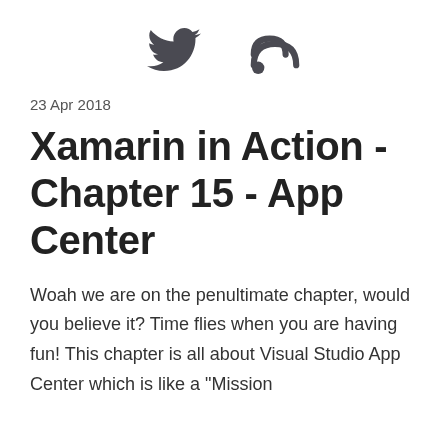[Figure (other): Twitter bird icon and RSS feed icon in dark gray]
23 Apr 2018
Xamarin in Action - Chapter 15 - App Center
Woah we are on the penultimate chapter, would you believe it? Time flies when you are having fun! This chapter is all about Visual Studio App Center which is like a "Mission